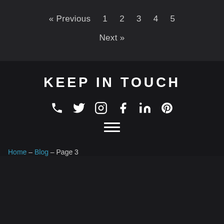« Previous  1  2  3  4  5
Next »
KEEP IN TOUCH
[Figure (infographic): Social media icons row: phone, twitter, instagram, facebook, linkedin, pinterest; and a hamburger menu icon below]
Home – Blog – Page 3